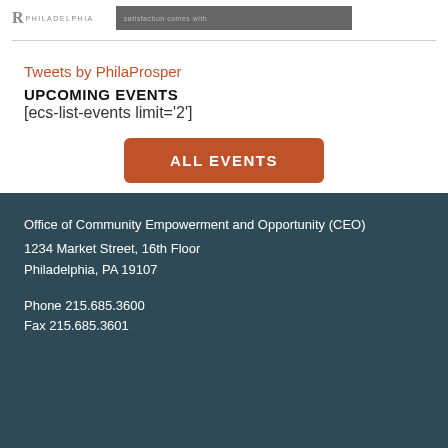[Figure (logo): Logo bar with stylized R and PHILADELPHIA text on left, dark gray banner image on right]
Tweets by PhilaProsper
UPCOMING EVENTS
[ecs-list-events limit='2']
ALL EVENTS
Office of Community Empowerment and Opportunity (CEO)
1234 Market Street, 16th Floor
Philadelphia, PA 19107

Phone 215.685.3600
Fax 215.685.3601